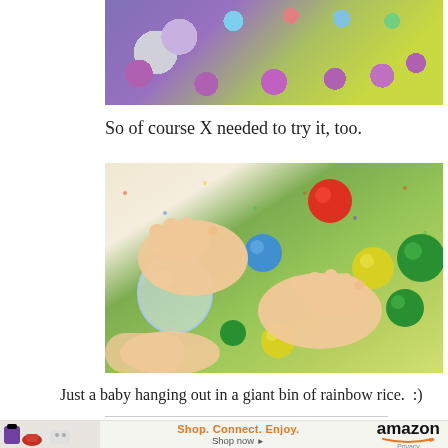[Figure (photo): Overhead view of colorful rainbow rice in a bin with pom-poms in purple, green, blue, red colors and a clear plastic ball/egg]
So of course X needed to try it, too.
[Figure (photo): Baby's feet and hands touching in a large bin of colorful rainbow rice with pom-poms in red, blue, yellow, green colors and a clear plastic ball]
Just a baby hanging out in a giant bin of rainbow rice.  :)
[Figure (other): Amazon advertisement banner: Shop. Connect. Enjoy. amazon Shop now with arrow and Privacy link. Small product images on left side.]